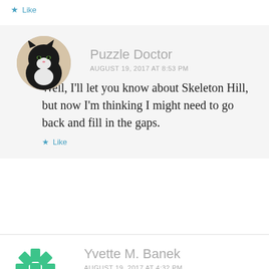★ Like
Puzzle Doctor
AUGUST 19, 2017 AT 8:53 PM
Well, I'll let you know about Skeleton Hill, but now I'm thinking I might need to go back and fill in the gaps.
★ Like
Yvette M. Banek
AUGUST 19, 2017 AT 4:32 PM
Haven't read this one… somehow I